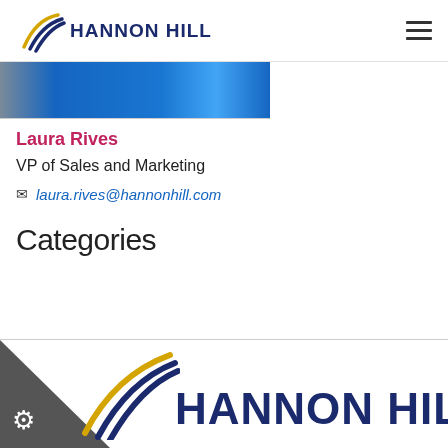[Figure (logo): Hannon Hill logo with diagonal swoosh lines (gold and navy) and HANNON HILL text in navy, top navigation bar with hamburger menu icon]
[Figure (photo): Blue banner image strip, partial view of a photo with blue tones]
Laura Rives
VP of Sales and Marketing
laura.rives@hannonhill.com
Categories
[Figure (logo): Hannon Hill footer logo with large gold and navy swoosh graphic and HANNON HILL text in large navy bold font, with dark triangle and gear icon in bottom left corner]